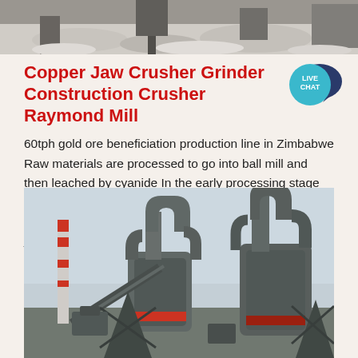[Figure (photo): Top partial image showing mining/construction site with machinery and rock/ore material on ground]
Copper Jaw Crusher Grinder Construction Crusher Raymond Mill
60tph gold ore beneficiation production line in Zimbabwe Raw materials are processed to go into ball mill and then leached by cyanide In the early processing stage the gold ore is processed into a reasonable size by means of two stage closed circuit crushing process with jaw crusher and cone crusher so that the ores can be
[Figure (photo): Industrial grinding mill / raymond mill facility with large cylindrical equipment, pipes, conveyors, and a striped chimney in background]